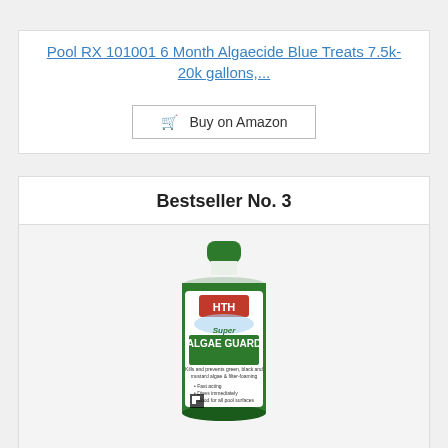Pool RX 101001 6 Month Algaecide Blue Treats 7.5k-20k gallons,...
Buy on Amazon
Bestseller No. 3
[Figure (photo): HTH Super Algae Guard 5-IN-1 bottle with green cap]
HTH 67032 Super Algae Guard Swimming Pool Algaecide Cleanser, 1...